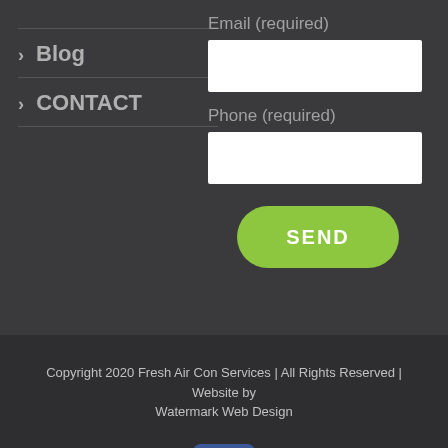> Blog
> CONTACT
Email (required)
Phone (required)
SEND
Copyright 2020 Fresh Air Con Services | All Rights Reserved | Website by Watermark Web Design
[Figure (logo): Facebook logo icon, blue rounded square with white 'f']
1800 917 141